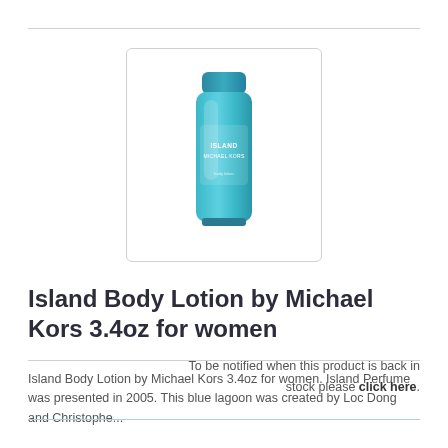[Figure (photo): A teal/turquoise squeeze tube of Island Body Lotion by Michael Kors, shown upright on white background inside a rounded rectangle border.]
Island Body Lotion by Michael Kors 3.4oz for women
Island Body Lotion by Michael Kors 3.4oz for women. Island Perfume was presented in 2005. This blue lagoon was created by Loc Dong and Christophe...
To be notified when this product is back in stock please click here.